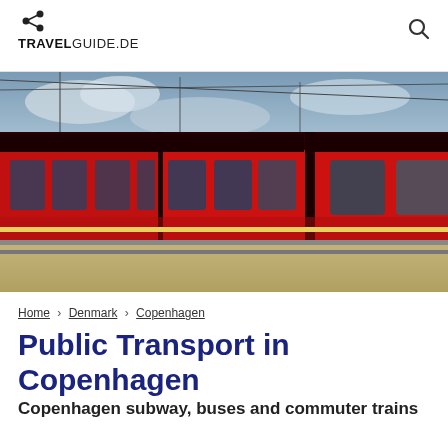TRAVELGUIDE.DE
[Figure (photo): Red commuter train at a station platform with overhead electric wires, cloudy sky in background]
Home › Denmark › Copenhagen
Public Transport in Copenhagen
Copenhagen subway, buses and commuter trains